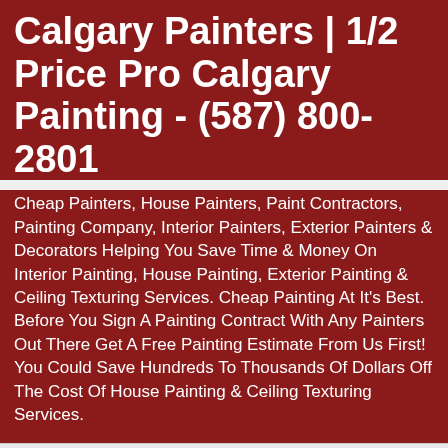Calgary Painters | 1/2 Price Pro Calgary Painting - (587) 800-2801
Cheap Painters, House Painters, Paint Contractors, Painting Company, Interior Painters, Exterior Painters & Decorators Helping You Save Time & Money On Interior Painting, House Painting, Exterior Painting & Ceiling Texturing Services. Cheap Painting At It's Best. Before You Sign A Painting Contract With Any Painters Out There Get A Free Painting Estimate From Us First! You Could Save Hundreds To Thousands Of Dollars Off The Cost Of House Painting & Ceiling Texturing Services.
Home
Stipple Ceiling Removal